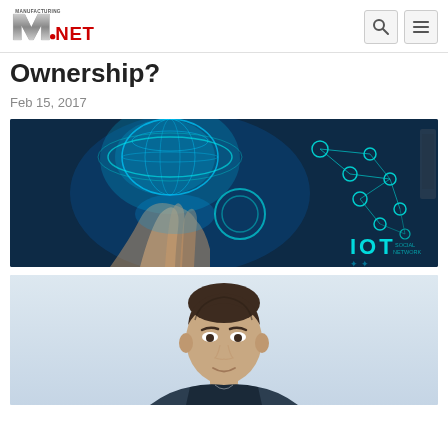Manufacturing.NET logo with search and menu icons
Ownership?
Feb 15, 2017
[Figure (photo): Hand holding a glowing IoT interface with network diagrams and 'IOT SOCIAL NETWORK' text overlay on dark blue background]
[Figure (photo): Portrait photo of a man from shoulders up, light blue/grey background, top of head visible]